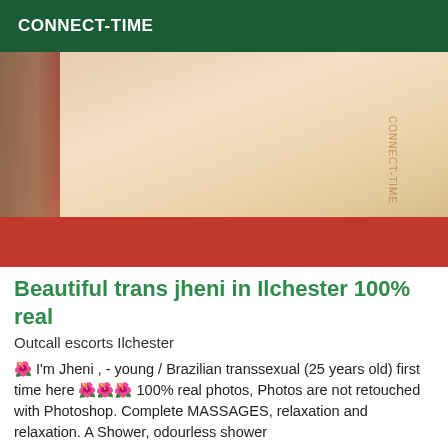CONNECT-TIME
[Figure (photo): Close-up photo of a person in a red outfit, showing their back/torso area with blonde hair visible on the left side. A watermark text is visible on the right side rotated vertically.]
Beautiful trans jheni in Ilchester 100% real
Outcall escorts Ilchester
🌺 I'm Jheni , - young / Brazilian transsexual (25 years old) first time here 🌺🌺🌺 100% real photos, Photos are not retouched with Photoshop. Complete MASSAGES, relaxation and relaxation. A Shower, odourless shower